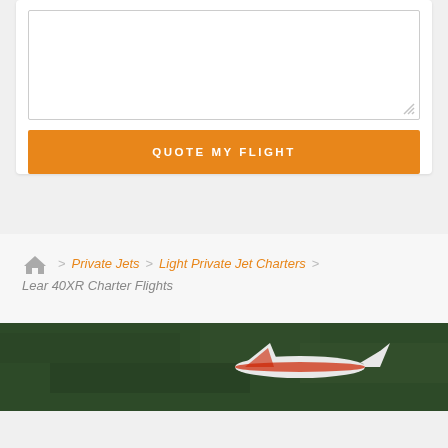[Figure (other): A text area input box (form field) with a resize handle in the bottom-right corner]
QUOTE MY FLIGHT
> Private Jets > Light Private Jet Charters > Lear 40XR Charter Flights
[Figure (photo): Aerial photo of a light private jet (red and white) on the ground viewed from above, surrounded by green landscape]